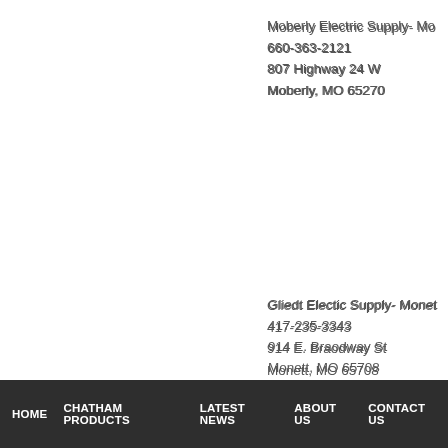Moberly Electric Supply- Mo
660-363-2121
807 Highway 24 W
Moberly, MO 65270
Gliedt Electic Supply- Monet
417-235-3343
914 E. Braodway St
Monett, MO 65708
Poplar Bluff Winnelson
573-686-1417
2840 South 11th St
Poplar Bluff, MO 63901
HOME   CHATHAM PRODUCTS   LATEST NEWS   ABOUT US   CONTACT US